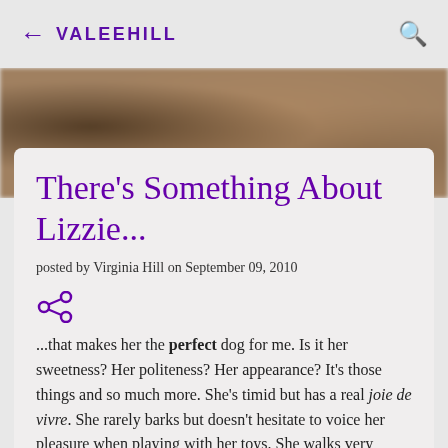← VALEEHILL 🔍
[Figure (photo): Blurred photo of a dog, warm brown tones, out of focus background]
There's Something About Lizzie...
posted by Virginia Hill on September 09, 2010
...that makes her the perfect dog for me. Is it her sweetness? Her politeness? Her appearance? It's those things and so much more. She's timid but has a real joie de vivre. She rarely barks but doesn't hesitate to voice her pleasure when playing with her toys. She walks very